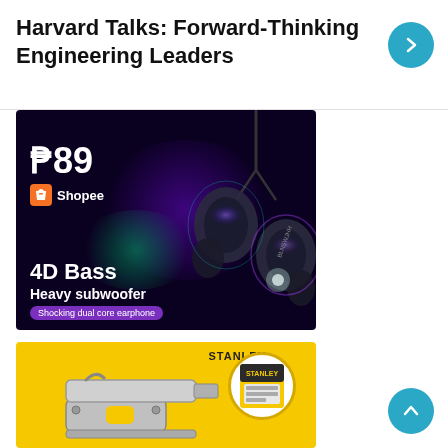Harvard Talks: Forward-Thinking Engineering Leaders
[Figure (photo): Shopee advertisement for 4D Bass Heavy subwoofer earphones, price ₱89, dark background with illuminated earbuds]
[Figure (photo): Stanley brand advertisement showing a staple gun tool on yellow background with product package shown in a circle]